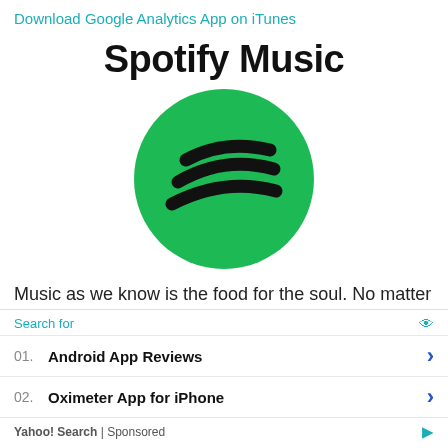Download Google Analytics App on iTunes
Spotify Music
[Figure (logo): Spotify logo: green circle with three black sound-wave arcs]
Music as we know is the food for the soul. No matter your blogging niche, with the right sounding music, you could even blog for 24hours and feel like it was just 10
Search for
01. Android App Reviews
02. Oximeter App for iPhone
Yahoo! Search | Sponsored